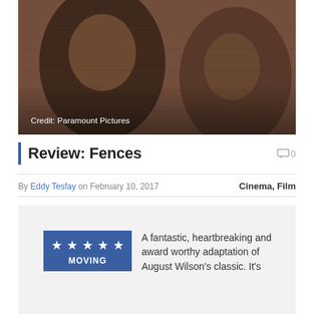[Figure (photo): Two people laughing together, a man in a cap and a woman, against a brick wall background. Film still from Fences.]
Credit: Paramount Pictures
Review: Fences
0
By Eddy Tesfay on February 10, 2017
Cinema, Film
A fantastic, heartbreaking and award worthy adaptation of August Wilson's classic. It's
MOVING